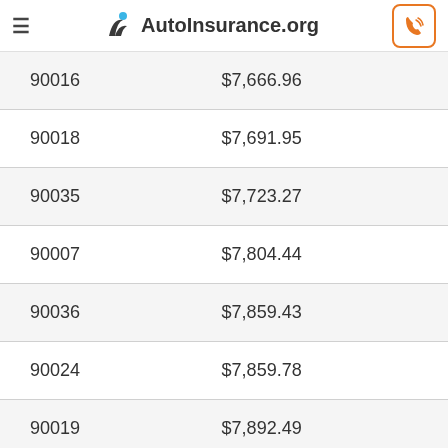AutoInsurance.org
| 90016 | $7,666.96 |
| 90018 | $7,691.95 |
| 90035 | $7,723.27 |
| 90007 | $7,804.44 |
| 90036 | $7,859.43 |
| 90024 | $7,859.78 |
| 90019 | $7,892.49 |
| 90068 | $7,907.31 |